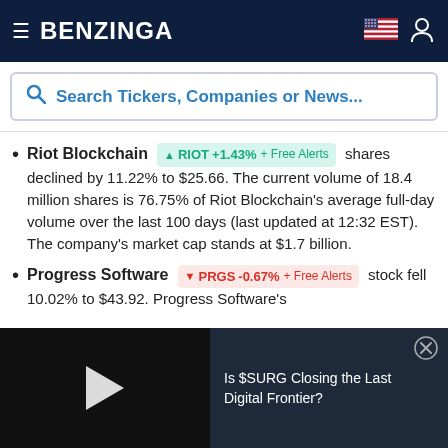BENZINGA
Search Tickers, Companies or News...
Riot Blockchain RIOT +1.43% + Free Alerts shares declined by 11.22% to $25.66. The current volume of 18.4 million shares is 76.75% of Riot Blockchain's average full-day volume over the last 100 days (last updated at 12:32 EST). The company's market cap stands at $1.7 billion.
Progress Software PRGS -0.67% + Free Alerts stock fell 10.02% to $43.92. Progress Software's
Is $SURG Closing the Last Digital Frontier?